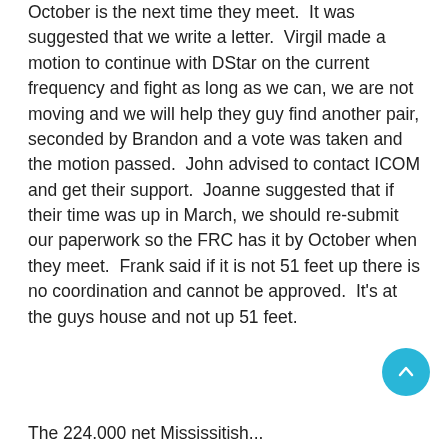October is the next time they meet.  It was suggested that we write a letter.  Virgil made a motion to continue with DStar on the current frequency and fight as long as we can, we are not moving and we will help they guy find another pair, seconded by Brandon and a vote was taken and the motion passed.  John advised to contact ICOM and get their support.  Joanne suggested that if their time was up in March, we should re-submit our paperwork so the FRC has it by October when they meet.  Frank said if it is not 51 feet up there is no coordination and cannot be approved.  It's at the guys house and not up 51 feet.
The 224.000 net Mississitish...